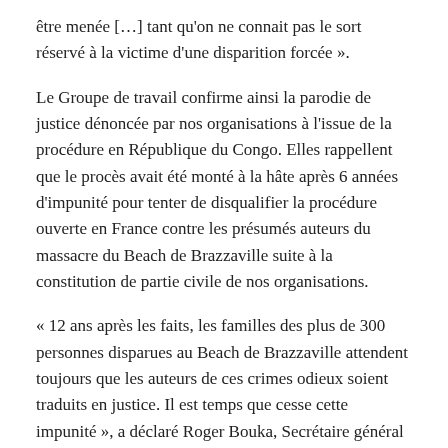être menée […] tant qu'on ne connait pas le sort réservé à la victime d'une disparition forcée ».
Le Groupe de travail confirme ainsi la parodie de justice dénoncée par nos organisations à l'issue de la procédure en République du Congo. Elles rappellent que le procès avait été monté à la hâte après 6 années d'impunité pour tenter de disqualifier la procédure ouverte en France contre les présumés auteurs du massacre du Beach de Brazzaville suite à la constitution de partie civile de nos organisations.
« 12 ans après les faits, les familles des plus de 300 personnes disparues au Beach de Brazzaville attendent toujours que les auteurs de ces crimes odieux soient traduits en justice. Il est temps que cesse cette impunité », a déclaré Roger Bouka, Secrétaire général de la FIDH et Directeur exécutif de l'OCDH.
La FIDH, l'OCDH, la LDH et le Collectif des parents des